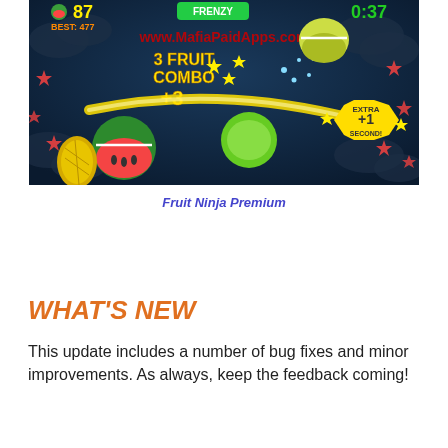[Figure (screenshot): Fruit Ninja Premium game screenshot showing Frenzy mode. Score 87, Best: 477, timer 0:37, '3 Fruit Combo +3' text, a yellow slash trail across the screen, sliced watermelon, pineapple, lime, and apple pieces, pink stars, 'Extra +1 Second!' bonus text, dark blue cloudy background. Watermark: www.MafiaPaidApps.com in red.]
Fruit Ninja Premium
WHAT'S NEW
This update includes a number of bug fixes and minor improvements. As always, keep the feedback coming!